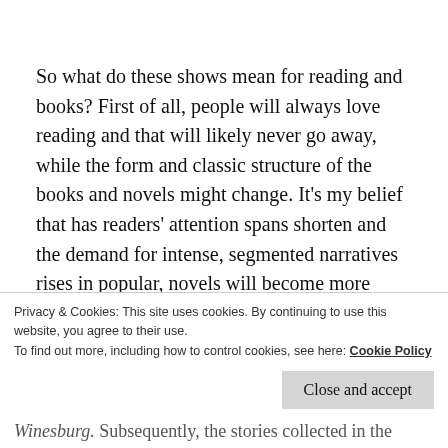So what do these shows mean for reading and books? First of all, people will always love reading and that will likely never go away, while the form and classic structure of the books and novels might change. It's my belief that has readers' attention spans shorten and the demand for intense, segmented narratives rises in popular, novels will become more episodic in scope. Or should I say, will once again be episodic, as fragmented novels are no strangers in American literature. Sherwood Anderson's classic Winesbura, Ohio is one of the most lauded novels of
Privacy & Cookies: This site uses cookies. By continuing to use this website, you agree to their use.
To find out more, including how to control cookies, see here: Cookie Policy
Close and accept
Winesburg. Subsequently, the stories collected in the